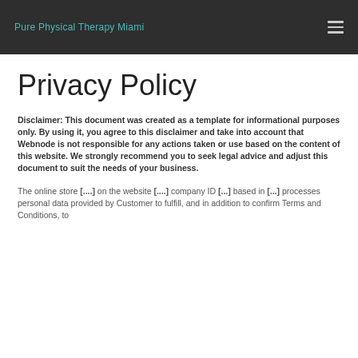Pure Physical Therapy Miami
Privacy Policy
Disclaimer: This document was created as a template for informational purposes only. By using it, you agree to this disclaimer and take into account that Webnode is not responsible for any actions taken or use based on the content of this website. We strongly recommend you to seek legal advice and adjust this document to suit the needs of your business.
The online store [....] on the website [....] company ID [...] based in [...] processes personal data provided by Customer to fulfill, and in addition to confirm Terms and Conditions, to